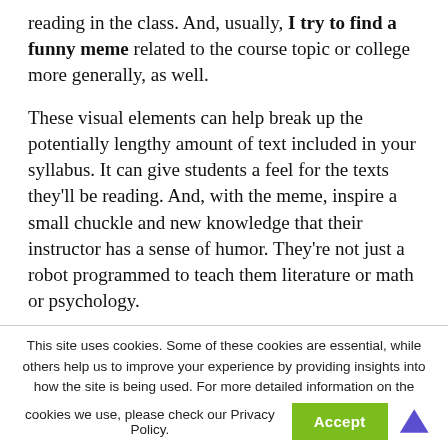reading in the class. And, usually, I try to find a funny meme related to the course topic or college more generally, as well.
These visual elements can help break up the potentially lengthy amount of text included in your syllabus. It can give students a feel for the texts they'll be reading. And, with the meme, inspire a small chuckle and new knowledge that their instructor has a sense of humor. They're not just a robot programmed to teach them literature or math or psychology.
This site uses cookies. Some of these cookies are essential, while others help us to improve your experience by providing insights into how the site is being used. For more detailed information on the cookies we use, please check our Privacy Policy.